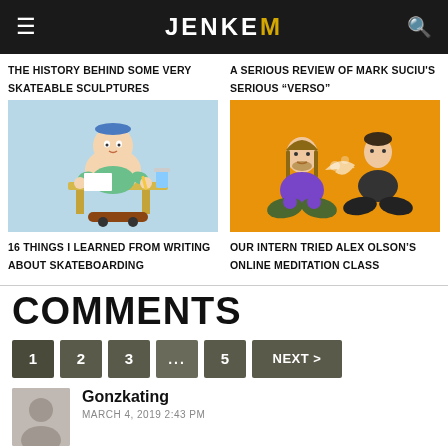JENKEM
THE HISTORY BEHIND SOME VERY SKATEABLE SCULPTURES
A SERIOUS REVIEW OF MARK SUCIU'S SERIOUS “VERSO”
[Figure (illustration): Cartoon illustration of a baby skater sitting at a desk drawing, with a skateboard underneath, light blue background]
[Figure (illustration): Cartoon illustration of two people sitting cross-legged on orange background, one in purple hoodie one in dark shirt, appearing to meditate or interact]
16 THINGS I LEARNED FROM WRITING ABOUT SKATEBOARDING
OUR INTERN TRIED ALEX OLSON’S ONLINE MEDITATION CLASS
COMMENTS
1
2
3
...
5
NEXT >
Gonzkating
MARCH 4, 2019 2:43 PM